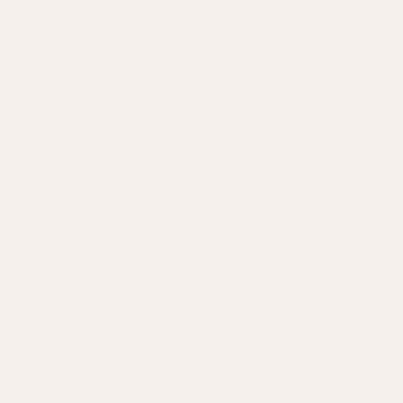several Housing and Development Board blocks of flats which can be seen from Punggol River or Sungei Punggol. The river is near Lorong Buangkok. Title devised by Library staff.
Commonwealth Drive HDB flats, block 57 : general view [1]
Streets and Places · Transportation · Wong, Lily · Little Red Dot Collection {18549142}
This 2009 photograph shows a Housing and Development